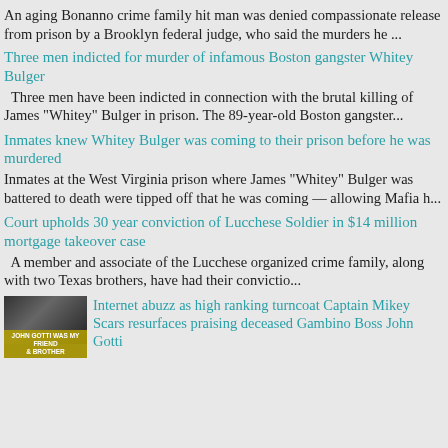An aging Bonanno crime family hit man was denied compassionate release from prison by a Brooklyn federal judge, who said the murders he ...
Three men indicted for murder of infamous Boston gangster Whitey Bulger
Three men have been indicted in connection with the brutal killing of James "Whitey" Bulger in prison. The 89-year-old Boston gangster...
Inmates knew Whitey Bulger was coming to their prison before he was murdered
Inmates at the West Virginia prison where James "Whitey" Bulger was battered to death were tipped off that he was coming — allowing Mafia h...
Court upholds 30 year conviction of Lucchese Soldier in $14 million mortgage takeover case
A member and associate of the Lucchese organized crime family, along with two Texas brothers, have had their convictio...
[Figure (photo): Black and white photo of two men, with yellow text overlay reading 'JOHN GOTTI WAS MY FRIEND & BROTHER']
Internet abuzz as high ranking turncoat Captain Mikey Scars resurfaces praising deceased Gambino Boss John Gotti